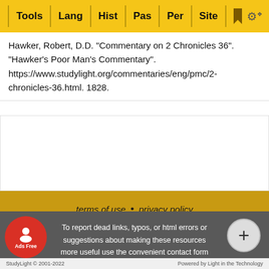Tools | Lang | Hist | Pas | Per | Site
Hawker, Robert, D.D. "Commentary on 2 Chronicles 36". "Hawker's Poor Man's Commentary". https://www.studylight.org/commentaries/eng/pmc/2-chronicles-36.html. 1828.
terms of use • privacy policy • rights and permissions • contact sl • about sl • link to sl
To report dead links, typos, or html errors or suggestions about making these resources more useful use the convenient contact form
StudyLight © 2001-2022 Powered by Light in the Technology